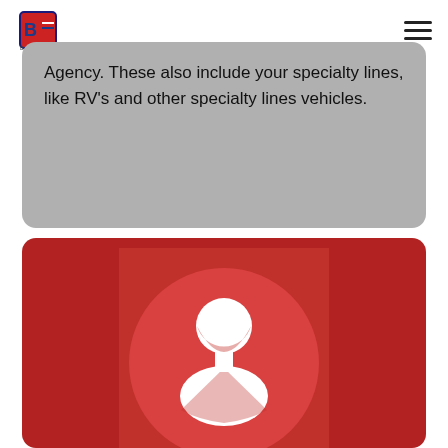[Figure (logo): BIA (BuildersInAmerica) logo - small red/blue shield icon with text]
Agency. These also include your specialty lines, like RV's and other specialty lines vehicles.
[Figure (illustration): Person/user avatar icon - white silhouette of a person on a red circular background, set against a dark red card background]